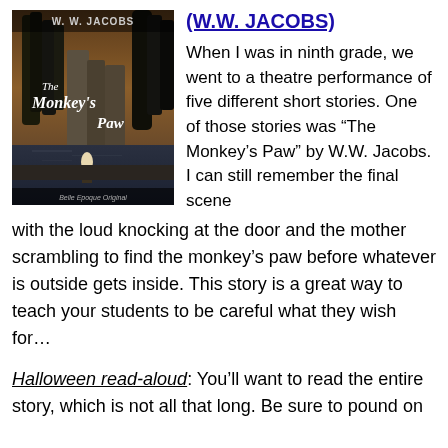(W.W. JACOBS)
[Figure (photo): Book cover of 'The Monkey's Paw' by W.W. Jacobs, showing a dark atmospheric scene with tall cypress trees, stone columns, and a figure near water. Title reads 'The Monkey's Paw' in stylized script. Text at bottom: 'Belle Epoque Original'.]
When I was in ninth grade, we went to a theatre performance of five different short stories. One of those stories was “The Monkey’s Paw” by W.W. Jacobs. I can still remember the final scene with the loud knocking at the door and the mother scrambling to find the monkey’s paw before whatever is outside gets inside. This story is a great way to teach your students to be careful what they wish for…
Halloween read-aloud: You’ll want to read the entire story, which is not all that long. Be sure to pound on